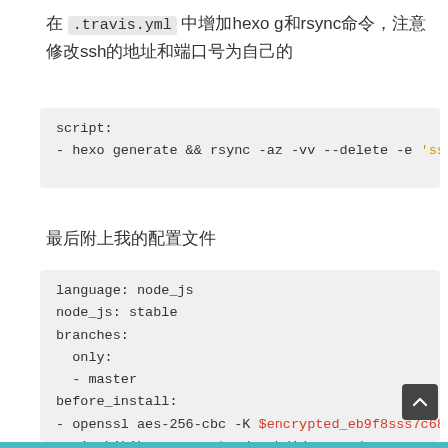在 .travis.yml 中增加hexo g和rsync命令，注意修改ssh的地址和端口号为自己的
script:
- hexo generate && rsync -az -vv --delete -e 'ssh -p 22' publ
最后附上我的配置文件
language: node_js
node_js: stable
branches:
  only:
  - master
before_install:
- openssl aes-256-cbc -K $encrypted_eb9f8sss7c68_key -iv $
  -in kikiku.enc -out ~/.ssh/id_rsa -d
- git config --global user.name "sss"
- git config --global user.email "sss@foxmail.com"